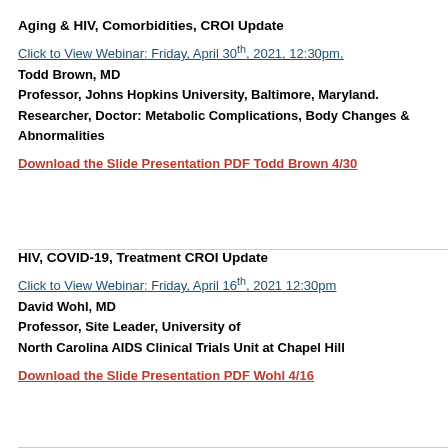Aging & HIV, Comorbidities, CROI Update
Click to View Webinar: Friday, April 30th, 2021, 12:30pm,
Todd Brown, MD
Professor, Johns Hopkins University, Baltimore, Maryland.
Researcher, Doctor: Metabolic Complications, Body Changes & Abnormalities
Download the Slide Presentation PDF Todd Brown 4/30
HIV, COVID-19, Treatment CROI Update
Click to View Webinar: Friday, April 16th, 2021 12:30pm
David Wohl, MD
Professor, Site Leader, University of
North Carolina AIDS Clinical Trials Unit at Chapel Hill
Download the Slide Presentation PDF Wohl 4/16